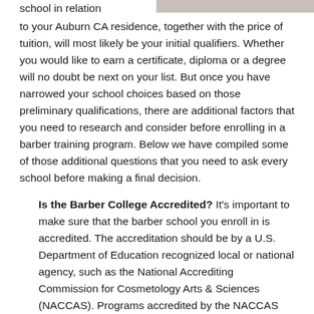[Figure (photo): Partial photo visible at top right of the page, appears to be a person]
school in relation to your Auburn CA residence, together with the price of tuition, will most likely be your initial qualifiers. Whether you would like to earn a certificate, diploma or a degree will no doubt be next on your list. But once you have narrowed your school choices based on those preliminary qualifications, there are additional factors that you need to research and consider before enrolling in a barber training program. Below we have compiled some of those additional questions that you need to ask every school before making a final decision.
Is the Barber College Accredited? It's important to make sure that the barber school you enroll in is accredited. The accreditation should be by a U.S. Department of Education recognized local or national agency, such as the National Accrediting Commission for Cosmetology Arts & Sciences (NACCAS). Programs accredited by the NACCAS must comply with their high standards assuring a superior curriculum and education.